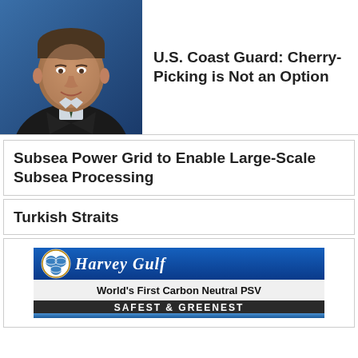[Figure (photo): Headshot of a middle-aged man in a dark suit and tie, smiling, against a blue background]
U.S. Coast Guard: Cherry-Picking is Not an Option
Subsea Power Grid to Enable Large-Scale Subsea Processing
Turkish Straits
[Figure (illustration): Harvey Gulf International Marine advertisement banner. Blue background with Harvey Gulf logo (circular emblem with globes) and cursive Harvey Gulf text. Below: white background with bold text 'World's First Carbon Neutral PSV' and yellow/white bar 'SAFEST & GREENEST'. Bottom shows a ship silhouette at sea.]